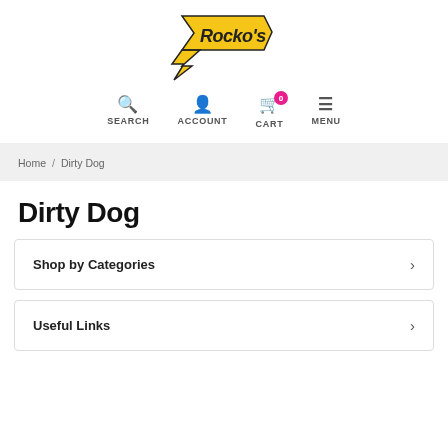[Figure (logo): Rocko's logo — yellow speech bubble shape with black italic text 'Rocko's' and a lightning bolt tail]
SEARCH  ACCOUNT  CART 0  MENU
Home / Dirty Dog
Dirty Dog
Shop by Categories
Useful Links